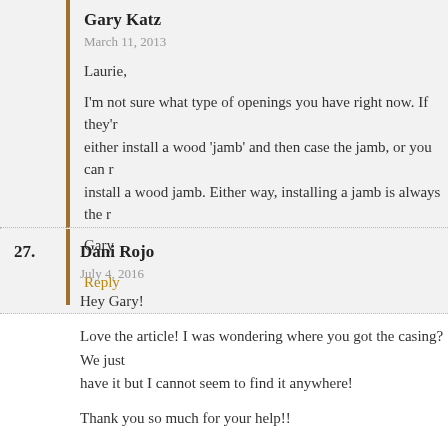Gary Katz
March 11, 2013
Laurie,
I'm not sure what type of openings you have right now. If they're either install a wood 'jamb' and then case the jamb, or you can install a wood jamb. Either way, installing a jamb is always the r
Gary
Reply
27.
Dani Rojo
July 4, 2016
Hey Gary!
Love the article! I was wondering where you got the casing? We just have it but I cannot seem to find it anywhere!
Thank you so much for your help!!
Reply